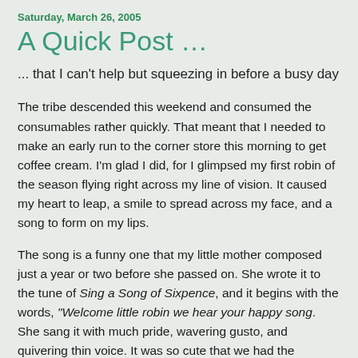Saturday, March 26, 2005
A Quick Post …
... that I can't help but squeezing in before a busy day
The tribe descended this weekend and consumed the consumables rather quickly. That meant that I needed to make an early run to the corner store this morning to get coffee cream. I'm glad I did, for I glimpsed my first robin of the season flying right across my line of vision. It caused my heart to leap, a smile to spread across my face, and a song to form on my lips.
The song is a funny one that my little mother composed just a year or two before she passed on. She wrote it to the tune of Sing a Song of Sixpence, and it begins with the words, "Welcome little robin we hear your happy song. She sang it with much pride, wavering gusto, and quivering thin voice. It was so cute that we had the congregation sing it at her